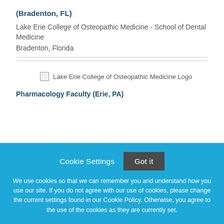(Bradenton, FL)
Lake Erie College of Osteopathic Medicine - School of Dental Medicine
Bradenton, Florida
[Figure (logo): Lake Erie College of Osteopathic Medicine Logo]
Pharmacology Faculty (Erie, PA)
Cookie Settings
Got it
We use cookies so that we can remember you and understand how you use our site. If you do not agree with our use of cookies, please change the current settings found in our Cookie Policy. Otherwise, you agree to the use of the cookies as they are currently set.